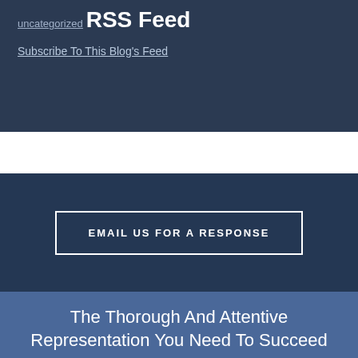uncategorized
RSS Feed
Subscribe To This Blog's Feed
EMAIL US FOR A RESPONSE
The Thorough And Attentive Representation You Need To Succeed